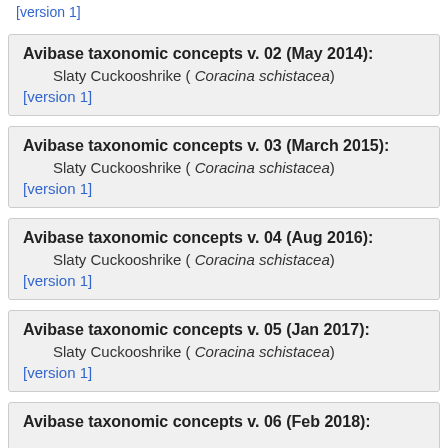[version 1] (partial link at top)
Avibase taxonomic concepts v. 02 (May 2014):
Slaty Cuckooshrike ( Coracina schistacea)
[version 1]
Avibase taxonomic concepts v. 03 (March 2015):
Slaty Cuckooshrike ( Coracina schistacea)
[version 1]
Avibase taxonomic concepts v. 04 (Aug 2016):
Slaty Cuckooshrike ( Coracina schistacea)
[version 1]
Avibase taxonomic concepts v. 05 (Jan 2017):
Slaty Cuckooshrike ( Coracina schistacea)
[version 1]
Avibase taxonomic concepts v. 06 (Feb 2018):